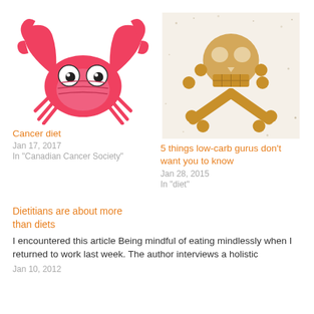[Figure (illustration): Cartoon red crab illustration]
Cancer diet
Jan 17, 2017
In "Canadian Cancer Society"
[Figure (photo): Food arranged to look like a skull and crossbones made of crackers/bread on a white background]
5 things low-carb gurus don't want you to know
Jan 28, 2015
In "diet"
Dietitians are about more than diets
I encountered this article Being mindful of eating mindlessly when I returned to work last week. The author interviews a holistic
Jan 10, 2012